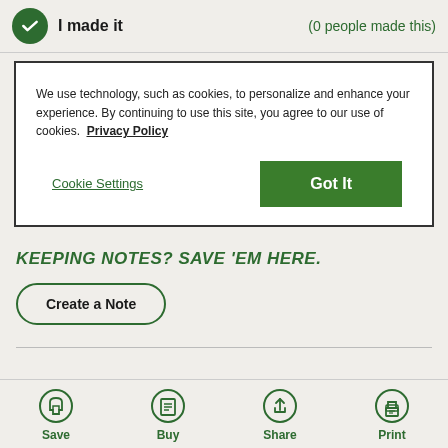I made it   (0 people made this)
We use technology, such as cookies, to personalize and enhance your experience. By continuing to use this site, you agree to our use of cookies.  Privacy Policy
Cookie Settings
Got It
KEEPING NOTES? SAVE 'EM HERE.
Create a Note
Save  Buy  Share  Print